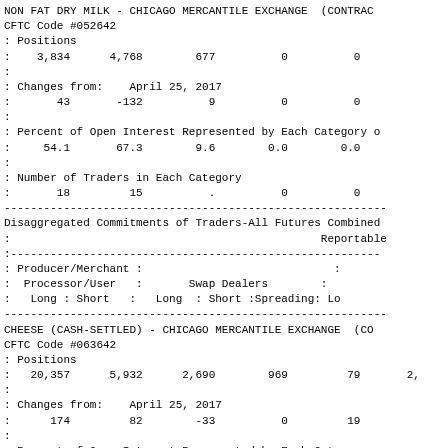NON FAT DRY MILK - CHICAGO MERCANTILE EXCHANGE  (CONTRAC
CFTC Code #052642
: Positions
:    3,834      4,768        677          0          0
:
: Changes from:    April 25, 2017
:       43       -132          9          0          0
:
: Percent of Open Interest Represented by Each Category o
:     54.1       67.3        9.6        0.0        0.0
:
: Number of Traders in Each Category
:       18         15          .          0          0
Disaggregated Commitments of Traders-All Futures Combined
:                                                Reportable
: Producer/Merchant :                             :
:  Processor/User   :       Swap Dealers        :
:   Long : Short   :   Long  : Short :Spreading: Lo
CHEESE (CASH-SETTLED) - CHICAGO MERCANTILE EXCHANGE  (CO
CFTC Code #063642
: Positions
:   20,357      5,932      2,690        969         79       2,
:
: Changes from:    April 25, 2017
:      174         82        -33          0         19
:
: Percent of Open Interest Represented by Each Category o